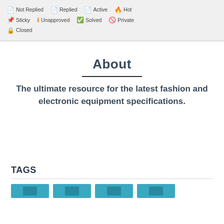Topic Icons: Not Replied  Replied  Active  Hot  Sticky  Unapproved  Solved  Private  Closed
About
The ultimate resource for the latest fashion and electronic equipment specifications.
TAGS